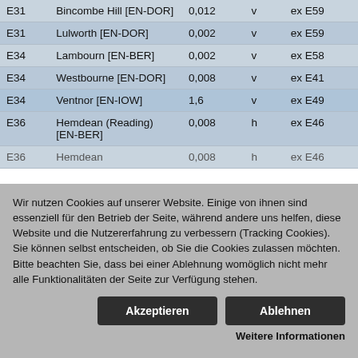|  |  |  |  |  |
| --- | --- | --- | --- | --- |
| E31 | Bincombe Hill [EN-DOR] | 0,012 | v | ex E59 |
| E31 | Lulworth [EN-DOR] | 0,002 | v | ex E59 |
| E34 | Lambourn [EN-BER] | 0,002 | v | ex E58 |
| E34 | Westbourne [EN-DOR] | 0,008 | v | ex E41 |
| E34 | Ventnor [EN-IOW] | 1,6 | v | ex E49 |
| E36 | Hemdean (Reading) [EN-BER] | 0,008 | h | ex E46 |
| E36 | Hemdean… | 0,008… | h… | ex E46… |
Wir nutzen Cookies auf unserer Website. Einige von ihnen sind essenziell für den Betrieb der Seite, während andere uns helfen, diese Website und die Nutzererfahrung zu verbessern (Tracking Cookies). Sie können selbst entscheiden, ob Sie die Cookies zulassen möchten. Bitte beachten Sie, dass bei einer Ablehnung womöglich nicht mehr alle Funktionalitäten der Seite zur Verfügung stehen.